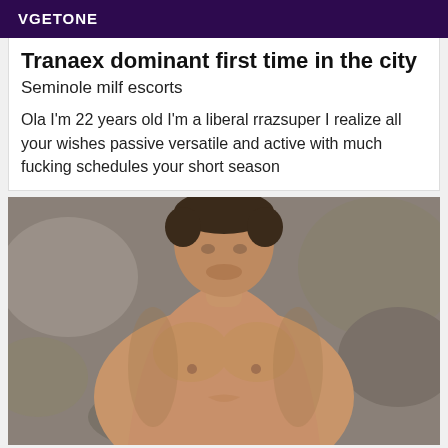VGETONE
Tranaex dominant first time in the city
Seminole milf escorts
Ola I'm 22 years old I'm a liberal rrazsuper I realize all your wishes passive versatile and active with much fucking schedules your short season
[Figure (photo): Shirtless muscular man photographed from chest up against rocky background]